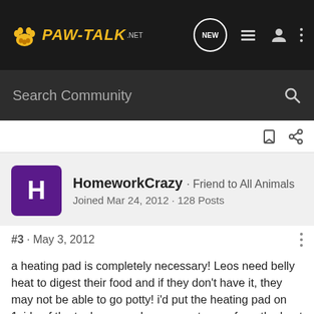PAW-TALK.net
Search Community
HomeworkCrazy · Friend to All Animals
Joined Mar 24, 2012 · 128 Posts
#3 · May 3, 2012
a heating pad is completely necessary! Leos need belly heat to digest their food and if they don't have it, they may not be able to go potty! i'd put the heating pad on 1side of the tank so your Leo can get away from the heat if it wants
a heat lamp isn't really necessary unless your room or wherever you are keeping your Leo gets cold... i don't let my tank's temp go below 70degrees Fahrenheit... i use Night Glo 74watt Neodymium Moonlight Lamp with a dimmer setup... it doesn't